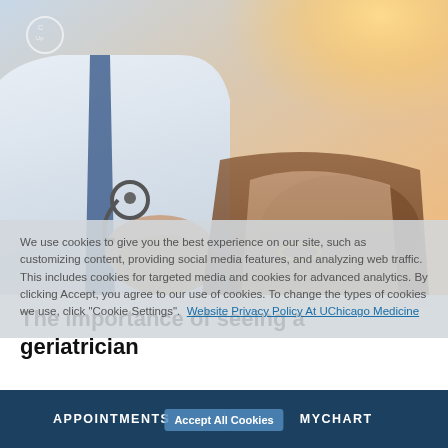[Figure (photo): Doctor in white lab coat with stethoscope holding hands of elderly patient, warm sunlight background]
We use cookies to give you the best experience on our site, such as customizing content, providing social media features, and analyzing web traffic. This includes cookies for targeted media and cookies for advanced analytics. By clicking Accept, you agree to our use of cookies. To change the types of cookies we use, click "Cookie Settings". Website Privacy Policy At UChicago Medicine
The importance of seeing a geriatrician
[Figure (photo): Partial view of a person with dark hair, second article image]
Accept All Cookies
APPOINTMENTS   MYCHART